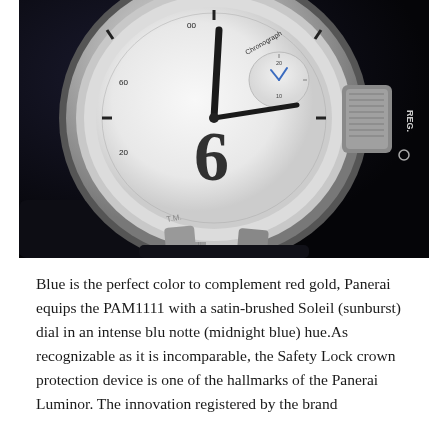[Figure (photo): Close-up photograph of a Panerai Luminor chronograph watch with white dial, blue hands, and steel case. The crown protection device (Safety Lock) is visible on the right side. The case shows 'T.M.' engraving. Watch is on a dark leather strap against a dark background.]
Blue is the perfect color to complement red gold, Panerai equips the PAM1111 with a satin-brushed Soleil (sunburst) dial in an intense blu notte (midnight blue) hue.As recognizable as it is incomparable, the Safety Lock crown protection device is one of the hallmarks of the Panerai Luminor. The innovation registered by the brand